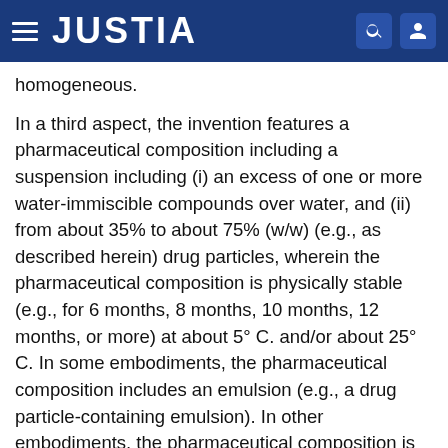JUSTIA
homogeneous.
In a third aspect, the invention features a pharmaceutical composition including a suspension including (i) an excess of one or more water-immiscible compounds over water, and (ii) from about 35% to about 75% (w/w) (e.g., as described herein) drug particles, wherein the pharmaceutical composition is physically stable (e.g., for 6 months, 8 months, 10 months, 12 months, or more) at about 5° C. and/or about 25° C. In some embodiments, the pharmaceutical composition includes an emulsion (e.g., a drug particle-containing emulsion). In other embodiments, the pharmaceutical composition is macroscopically substantially homogeneous. In some embodiments, the pharmaceutical composition is suitable for continuous or frequent intermittent intra-oral delivery.